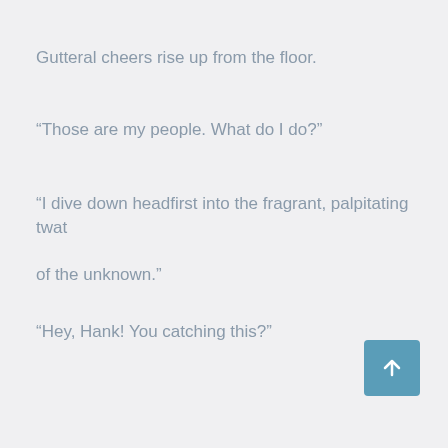Gutteral cheers rise up from the floor.
“Those are my people. What do I do?”
“I dive down headfirst into the fragrant, palpitating twat

of the unknown.”
“Hey, Hank! You catching this?”
[Figure (other): Teal/blue scroll-to-top button with upward arrow icon, positioned in bottom-right area]